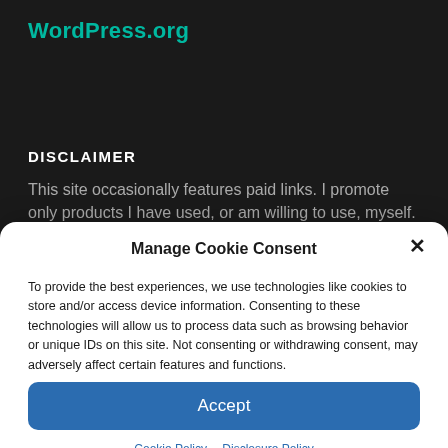WordPress.org
DISCLAIMER
This site occasionally features paid links. I promote only products I have used, or am willing to use, myself.
Manage Cookie Consent
To provide the best experiences, we use technologies like cookies to store and/or access device information. Consenting to these technologies will allow us to process data such as browsing behavior or unique IDs on this site. Not consenting or withdrawing consent, may adversely affect certain features and functions.
Accept
Cookie Policy   Disclosure Policy